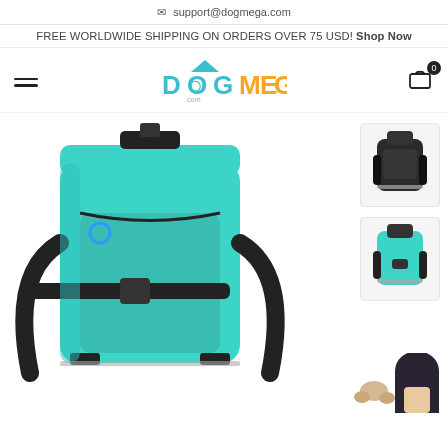✉ support@dogmega.com
FREE WORLDWIDE SHIPPING ON ORDERS OVER 75 USD! Shop Now
[Figure (logo): DogMega logo with teal and yellow text and a house/roof icon above the O in Dog]
[Figure (photo): Main product photo: teal and black dog backpack carrier, close-up front view showing buckles, straps, and mesh panel. Two smaller thumbnail images on the right: black version of backpack (top), teal version front view (bottom). Bottom right shows partial view of a person with dark hair and a dog's paws.]